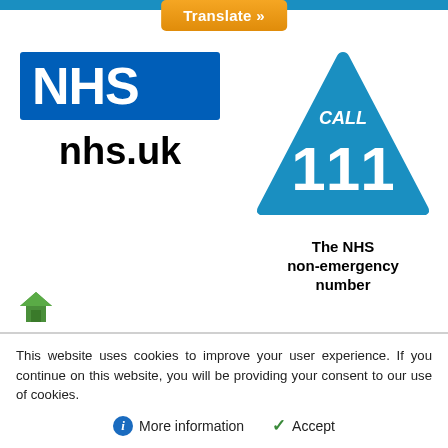[Figure (logo): Orange Translate button at top center of page]
[Figure (logo): NHS logo (blue rectangle with white NHS text) and nhs.uk text below]
[Figure (logo): Call 111 triangle logo - blue triangle with CALL 111 text and 'The NHS non-emergency number' below]
[Figure (logo): Small green house/home icon at bottom left area]
This website uses cookies to improve your user experience. If you continue on this website, you will be providing your consent to our use of cookies.
More information
Accept